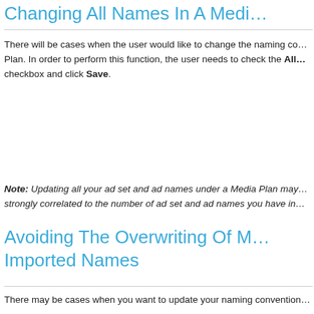Changing All Names In A Medi...
There will be cases when the user would like to change the naming co... Plan. In order to perform this function, the user needs to check the All... checkbox and click Save.
Note: Updating all your ad set and ad names under a Media Plan may... strongly correlated to the number of ad set and ad names you have in...
Avoiding The Overwriting Of M... Imported Names
There may be cases when you want to update your naming convention...